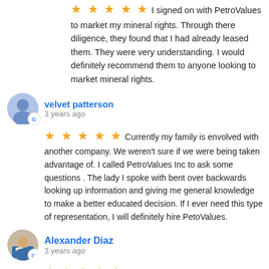I signed on with PetroValues to market my mineral rights.  Through there diligence, they found that I had already leased them.  They were very understanding. I would definitely  recommend them to anyone looking to market mineral rights.
velvet patterson
3 years ago
Currently my family is envolved with another company. We weren't sure if we were being taken advantage of.  I called PetroValues Inc to ask some questions . The lady I spoke with bent over backwards looking up information and giving me general knowledge to make a better educated decision.  If I ever need this type of representation, I will definitely hire PetoValues.
Alexander Diaz
3 years ago
Knowledgeable and helpful